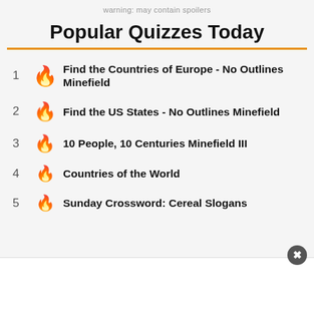warning: may contain spoilers
Popular Quizzes Today
Find the Countries of Europe - No Outlines Minefield
Find the US States - No Outlines Minefield
10 People, 10 Centuries Minefield III
Countries of the World
Sunday Crossword: Cereal Slogans